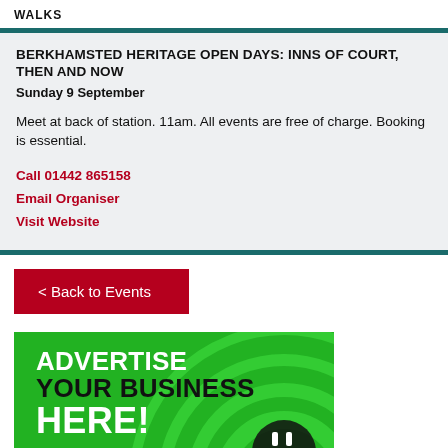WALKS
BERKHAMSTED HERITAGE OPEN DAYS: INNS OF COURT, THEN AND NOW
Sunday 9 September
Meet at back of station. 11am. All events are free of charge. Booking is essential.
Call 01442 865158
Email Organiser
Visit Website
< Back to Events
[Figure (infographic): Green advertisement banner reading ADVERTISE YOUR BUSINESS HERE! with circular graphic and plug icon]